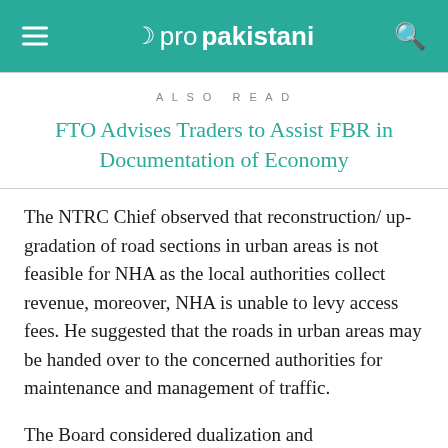propakistani
ALSO READ
FTO Advises Traders to Assist FBR in Documentation of Economy
The NTRC Chief observed that reconstruction/ up-gradation of road sections in urban areas is not feasible for NHA as the local authorities collect revenue, moreover, NHA is unable to levy access fees. He suggested that the roads in urban areas may be handed over to the concerned authorities for maintenance and management of traffic.
The Board considered dualization and